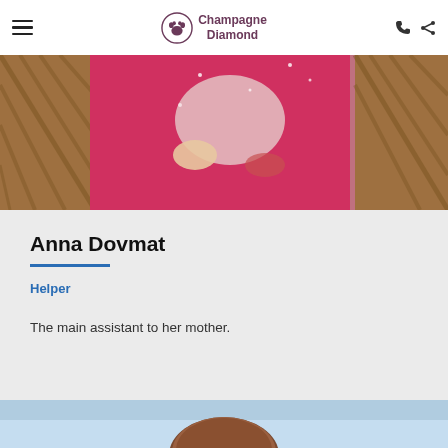Champagne Diamond
[Figure (photo): Child in pink down jacket holding a white puppy, sitting in a wicker chair outdoors in winter]
Anna Dovmat
Helper
The main assistant to her mother.
[Figure (photo): Bottom portion of page showing top of a child's head against a light blue sky background]